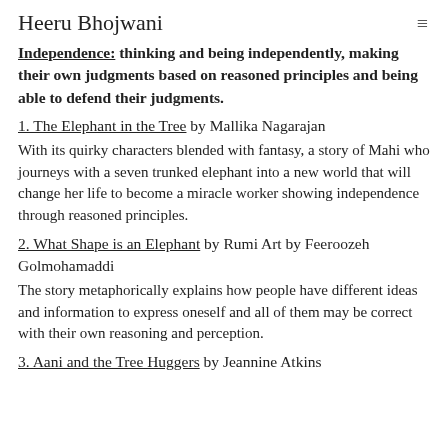Heeru Bhojwani
Independence: thinking and being independently, making their own judgments based on reasoned principles and being able to defend their judgments.
1. The Elephant in the Tree by Mallika Nagarajan
With its quirky characters blended with fantasy, a story of Mahi who journeys with a seven trunked elephant into a new world that will change her life to become a miracle worker showing independence through reasoned principles.
2. What Shape is an Elephant by Rumi Art by Feeroozeh Golmohamaddi
The story metaphorically explains how people have different ideas and information to express oneself and all of them may be correct with their own reasoning and perception.
3. Aani and the Tree Huggers by Jeannine Atkins